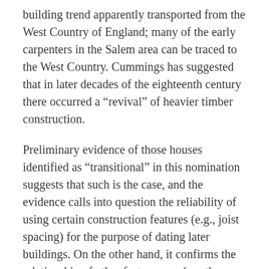building trend apparently transported from the West Country of England; many of the early carpenters in the Salem area can be traced to the West Country. Cummings has suggested that in later decades of the eighteenth century there occurred a “revival” of heavier timber construction.
Preliminary evidence of those houses identified as “transitional” in this nomination suggests that such is the case, and the evidence calls into question the reliability of using certain construction features (e.g., joist spacing) for the purpose of dating later buildings. On the other hand, it confirms the relationship of other features, such as the appearance of quirked beading and reduced width of flat chamfers to a later First Period or transitional date. In summary, the group of First Period buildings is important for its representation of the development of house plans,